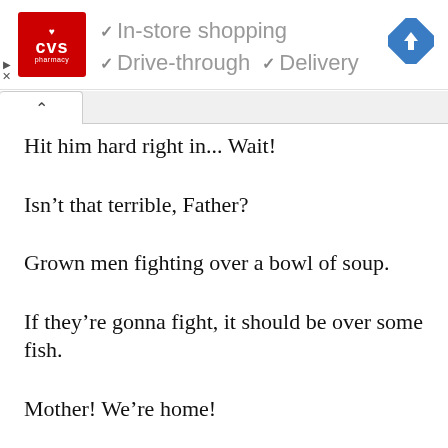[Figure (screenshot): CVS Pharmacy advertisement banner showing red CVS logo, checkmarks for In-store shopping, Drive-through, and Delivery, and a blue navigation arrow icon]
Hit him hard right in... Wait!
Isn't that terrible, Father?
Grown men fighting over a bowl of soup.
If they're gonna fight, it should be over some fish.
Mother! We're home!